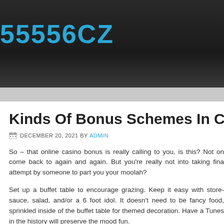55556CZ
Kinds Of Bonus Schemes In Cas...
DECEMBER 20, 2021 BY ADMIN
So – that online casino bonus is really calling to you, is this? Not on come back to again and again. But you're really not into taking fina attempt by someone to part you your moolah?
Set up a buffet table to encourage grazing. Keep it easy with store- sauce, salad, and/or a 6 foot idol. It doesn't need to be fancy food, sprinkled inside of the buffet table for themed decoration. Have a Tunes in the history will preserve the mood fun.